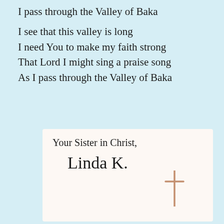I pass through the Valley of Baka
I see that this valley is long
I need You to make my faith strong
That Lord I might sing a praise song
As I pass through the Valley of Baka
Your Sister in Christ,

Linda K.